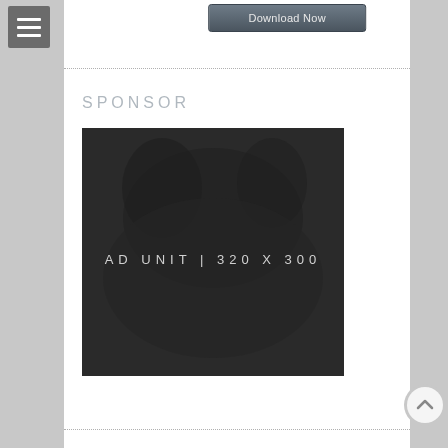[Figure (screenshot): Hamburger menu icon (three horizontal lines) on gray background in top-left corner]
[Figure (screenshot): Download Now button with dark gray gradient background]
SPONSOR
[Figure (other): Dark ad unit placeholder image showing 'AD UNIT | 320 X 300' text in white on dark background with subtle animal silhouette]